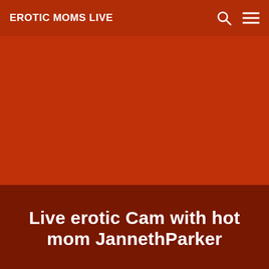EROTIC MOMS LIVE
Live erotic Cam with hot mom JannethParker